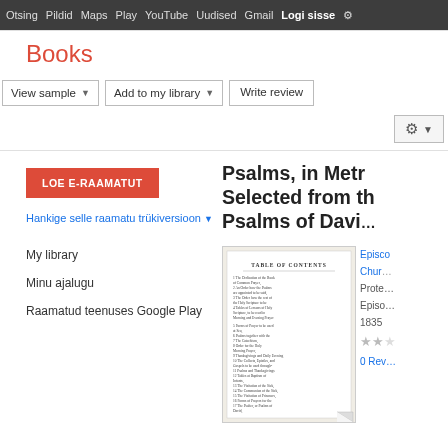Otsing  Pildid  Maps  Play  YouTube  Uudised  Gmail  Logi sisse  Seaded
Books
View sample  |  Add to my library  |  Write review
LOE E-RAAMATUT
Hankige selle raamatu trükiversioon ▼
My library
Minu ajalugu
Raamatud teenuses Google Play
Psalms, in Metr Selected from th Psalms of Davi
[Figure (screenshot): Table of Contents page of the book Psalms in Metre showing list of psalms]
Episcopal Church
Protestant Episcopal
1835
★★
0 Reviews